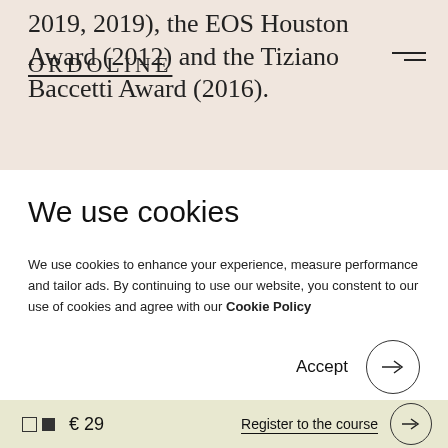2019, 2019), the EOS Houston Award (2012) and the Tiziano Baccetti Award (2016).
ORDOLINE
We use cookies
We use cookies to enhance your experience, measure performance and tailor ads. By continuing to use our website, you constent to our use of cookies and agree with our Cookie Policy
Accept
€ 29
Register to the course